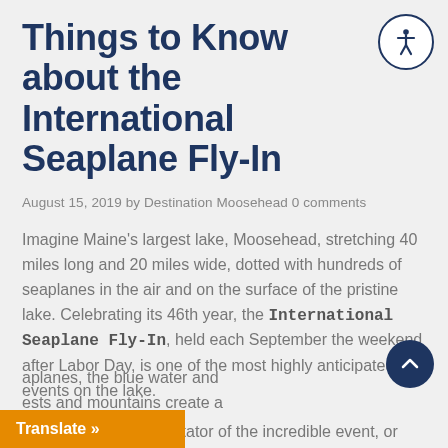Things to Know about the International Seaplane Fly-In
August 15, 2019 by Destination Moosehead 0 comments
Imagine Maine's largest lake, Moosehead, stretching 40 miles long and 20 miles wide, dotted with hundreds of seaplanes in the air and on the surface of the pristine lake. Celebrating its 46th year, the International Seaplane Fly-In, held each September the weekend after Labor Day, is one of the most highly anticipated events on the lake.
Whether you're a spectator of the incredible event, or you're lucky enough to be overhead in the s...aplanes, the blue water and ...rests and mountains create a